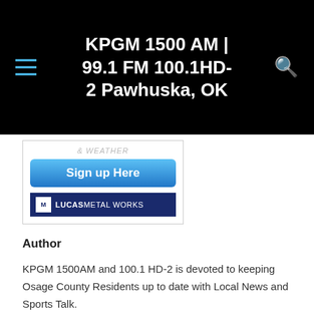KPGM 1500 AM | 99.1 FM 100.1HD-2 Pawhuska, OK
[Figure (screenshot): Advertisement image showing '& WEATHER' text, a blue 'Sign up Here' button, and a Lucas Metal Works logo banner]
Author
KPGM 1500AM and 100.1 HD-2 is devoted to keeping Osage County Residents up to date with Local News and Sports Talk.
Archives
February 2022
August 2021